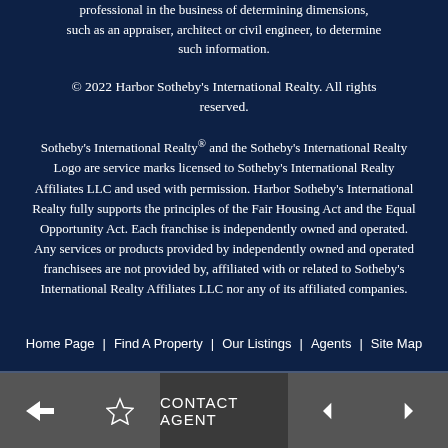professional in the business of determining dimensions, such as an appraiser, architect or civil engineer, to determine such information.
© 2022 Harbor Sotheby's International Realty. All rights reserved.
Sotheby's International Realty® and the Sotheby's International Realty Logo are service marks licensed to Sotheby's International Realty Affiliates LLC and used with permission. Harbor Sotheby's International Realty fully supports the principles of the Fair Housing Act and the Equal Opportunity Act. Each franchise is independently owned and operated. Any services or products provided by independently owned and operated franchisees are not provided by, affiliated with or related to Sotheby's International Realty Affiliates LLC nor any of its affiliated companies.
Home Page | Find A Property | Our Listings | Agents | Site Map